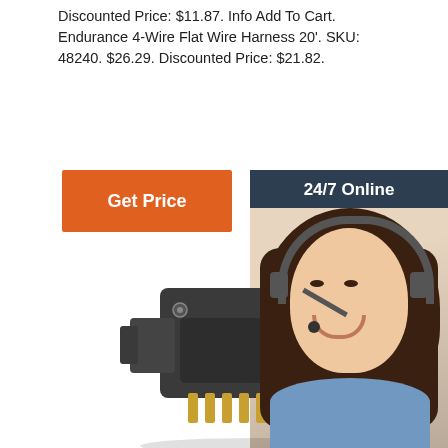Discounted Price: $11.87. Info Add To Cart. Endurance 4-Wire Flat Wire Harness 20'. SKU: 48240. $26.29. Discounted Price: $21.82.
[Figure (other): Orange 'Get Price' button]
[Figure (photo): 24/7 Online chat support banner with woman wearing headset, 'Click here for free chat!' text, and orange QUOTATION button]
[Figure (photo): Dark grey 7-pin flat trailer wire connector plug with gold pins, viewed from front-bottom angle]